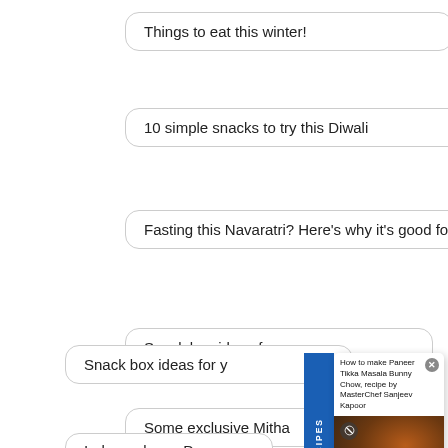Things to eat this winter!
10 simple snacks to try this Diwali
Fasting this Navaratri? Here’s why it’s good for you!
Snack box ideas for y…
Some exclusive Mitha…
It’s Janmashtami- Kn…
Independence Day…
[Figure (screenshot): Featured Recipes popup overlay with title 'How to make Paneer Tikka Masala Bunny Chow, recipe by MasterChef Sanjeev Kapoor', a close button, a food photo, a vertical blue 'FEATURED RECIPES' tab on the left, and bold overlay text 'How to make Paneer Tikka Masala Bunny Chow, recipe by MasterChef Sanjeev']